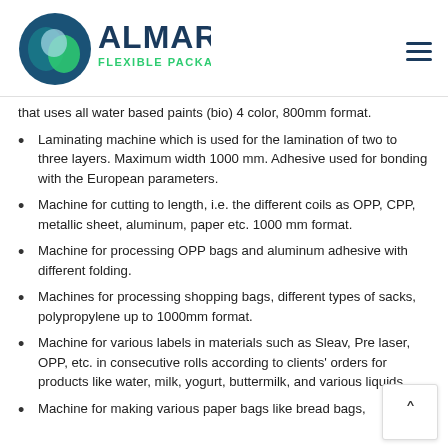[Figure (logo): Almar Flexible Packaging & Converting logo with circular icon and teal/green text]
that uses all water based paints (bio) 4 color, 800mm format.
Laminating machine which is used for the lamination of two to three layers. Maximum width 1000 mm. Adhesive used for bonding with the European parameters.
Machine for cutting to length, i.e. the different coils as OPP, CPP, metallic sheet, aluminum, paper etc. 1000 mm format.
Machine for processing OPP bags and aluminum adhesive with different folding.
Machines for processing shopping bags, different types of sacks, polypropylene up to 1000mm format.
Machine for various labels in materials such as Sleav, Pre laser, OPP, etc. in consecutive rolls according to clients' orders for products like water, milk, yogurt, buttermilk, and various liquids.
Machine for making various paper bags like bread bags,